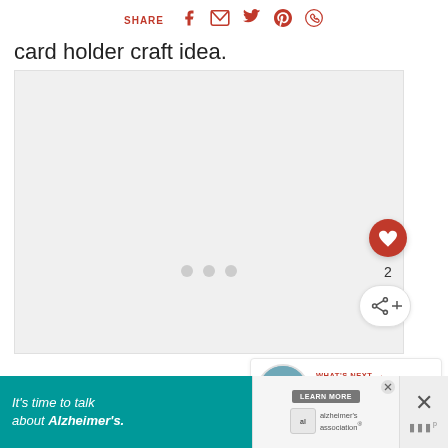SHARE
card holder craft idea.
[Figure (photo): Large image area (placeholder) for card holder craft idea content, with three dots indicating image carousel]
WHAT'S NEXT → Upcycled Basket Hot...
It's time to talk about Alzheimer's. LEARN MORE